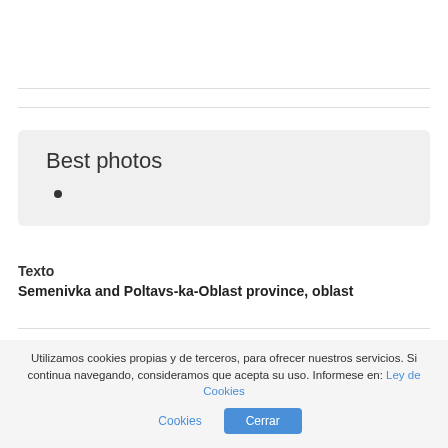Best photos
Texto
Semenivka and Poltavs-ka-Oblast province, oblast
© Viewphotos.org | 2022 | World Images | Contacto: dimarinternet(arroba)gmail.com Condiciones de uso Aviso Legal
Utilizamos cookies propias y de terceros, para ofrecer nuestros servicios. Si continua navegando, consideramos que acepta su uso. Informese en: Ley de Cookies  Cerrar